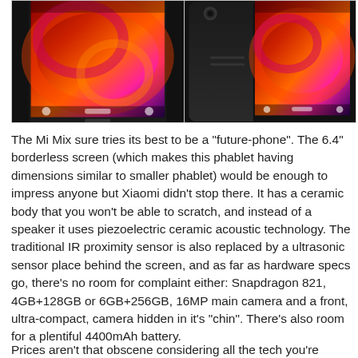[Figure (photo): Two product photos of Xiaomi Mi Mix smartphone: left shows front view with large borderless screen displaying colorful wallpaper; right shows back and front views side by side with the same wallpaper visible.]
The Mi Mix sure tries its best to be a "future-phone". The 6.4" borderless screen (which makes this phablet having dimensions similar to smaller phablet) would be enough to impress anyone but Xiaomi didn't stop there. It has a ceramic body that you won't be able to scratch, and instead of a speaker it uses piezoelectric ceramic acoustic technology. The traditional IR proximity sensor is also replaced by a ultrasonic sensor place behind the screen, and as far as hardware specs go, there's no room for complaint either: Snapdragon 821, 4GB+128GB or 6GB+256GB, 16MP main camera and a front, ultra-compact, camera hidden in it's "chin". There's also room for a plentiful 4400mAh battery.
Prices aren't that obscene considering all the tech you're